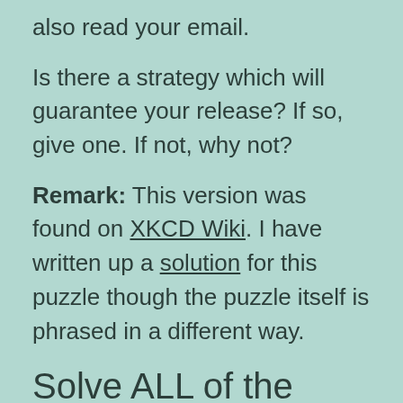also read your email.
Is there a strategy which will guarantee your release? If so, give one. If not, why not?
Remark: This version was found on XKCD Wiki. I have written up a solution for this puzzle though the puzzle itself is phrased in a different way.
Solve ALL of the Mazes
You’re minding your own business in the Land of Geometry, when suddenly a stupid robot